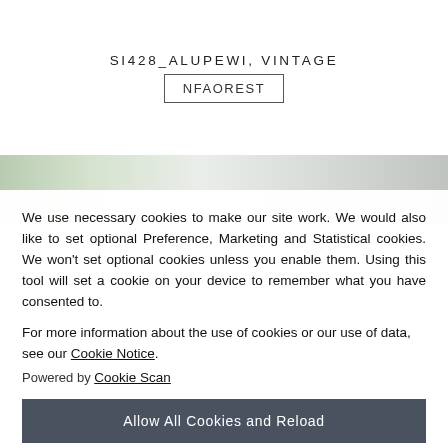[Figure (logo): Website logo with text SI428_ALUPEWI, VINTAGE and a box containing NFAOREST]
[Figure (photo): Partial photo strip showing greenery and a light surface, fading to gray]
We use necessary cookies to make our site work. We would also like to set optional Preference, Marketing and Statistical cookies. We won't set optional cookies unless you enable them. Using this tool will set a cookie on your device to remember what you have consented to.
For more information about the use of cookies or our use of data, see our Cookie Notice.
Powered by Cookie Scan
Allow All Cookies and Reload
Or Select Your Own Preferences